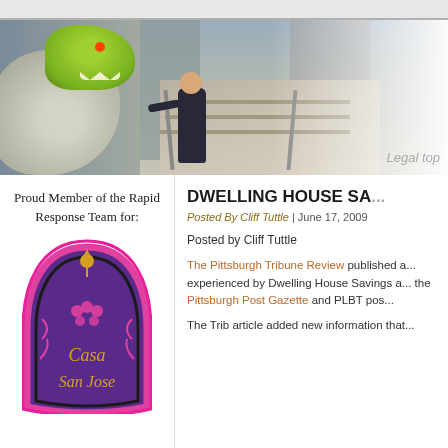[Figure (photo): Website banner photo showing a man in a dark suit standing on outdoor steps with city buildings behind him, and a large green dinosaur mascot statue to the left. The banner fades to white on the right side with the partial text 'Legal top' visible.]
Legal top
Proud Member of the Rapid Response Team for:
[Figure (logo): Casa San Jose logo — a decorative arch shape in purple and pink with gold text reading 'Casa San Jose' and floral ornaments.]
DWELLING HOUSE SA...
Posted By Cliff Tuttle | June 17, 2009
Posted by Cliff Tuttle
The Pittsburgh Tribune Review published a... experienced by Dwelling House Savings a... the Pittsburgh Post Gazette and PLBT pos...
The Trib article added new information that...